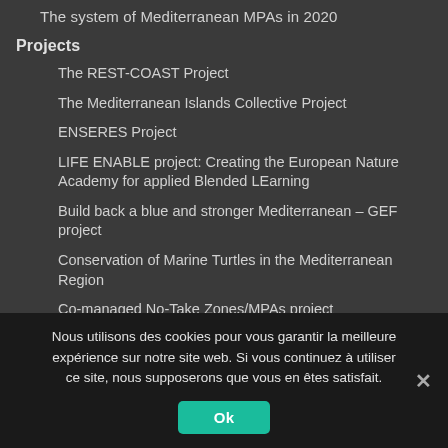The system of Mediterranean MPAs in 2020
Projects
The REST-COAST Project
The Mediterranean Islands Collective Project
ENSERES Project
LIFE ENABLE project: Creating the European Nature Academy for applied Blended LEarning
Build back a blue and stronger Mediterranean – GEF project
Conservation of Marine Turtles in the Mediterranean Region
Co-managed No-Take Zones/MPAs project
Ocean Governance Project
MPA NETWORKS project
Nous utilisons des cookies pour vous garantir la meilleure expérience sur notre site web. Si vous continuez à utiliser ce site, nous supposerons que vous en êtes satisfait.